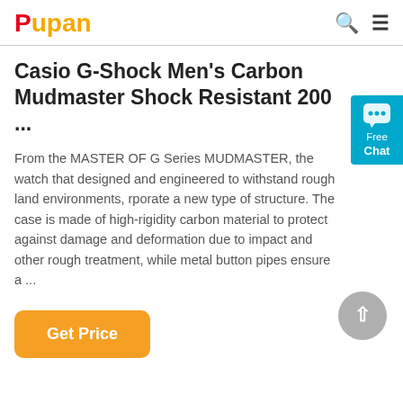Pupan
Casio G-Shock Men's Carbon Mudmaster Shock Resistant 200 ...
From the MASTER OF G Series MUDMASTER, the watch that designed and engineered to withstand rough land environments, rporate a new type of structure. The case is made of high-rigidity carbon material to protect against damage and deformation due to impact and other rough treatment, while metal button pipes ensure a ...
[Figure (other): Free Chat widget button (teal background with chat bubble icon)]
Get Price
[Figure (other): Scroll to top button (gray circular button with upward chevron arrow)]